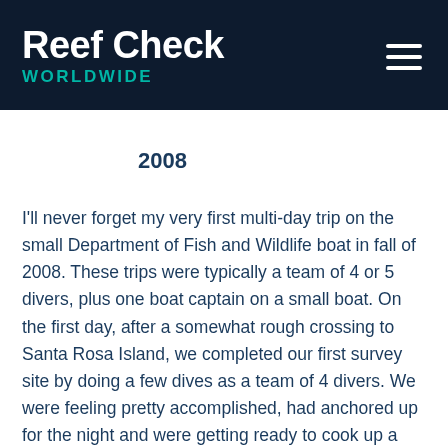Reef Check WORLDWIDE
2008
I'll never forget my very first multi-day trip on the small Department of Fish and Wildlife boat in fall of 2008. These trips were typically a team of 4 or 5 divers, plus one boat captain on a small boat. On the first day, after a somewhat rough crossing to Santa Rosa Island, we completed our first survey site by doing a few dives as a team of 4 divers. We were feeling pretty accomplished, had anchored up for the night and were getting ready to cook up a delicious dinner when our UCSB dive buddy told me he felt like he was coming down with the flu – and we had three more days of diving planned on